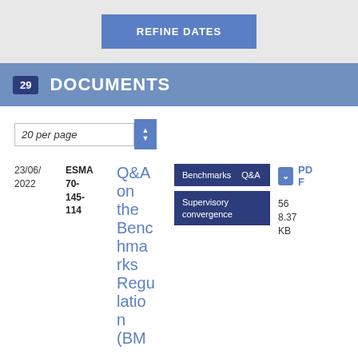[Figure (screenshot): REFINE DATES button in blue on grey background]
29 DOCUMENTS
20 per page
23/06/2022
ESMA 70-145-114
Q&A on the Benchmarks Regulation (BM
Benchmarks Q&A
Supervisory convergence
PDF 56 8.37 KB